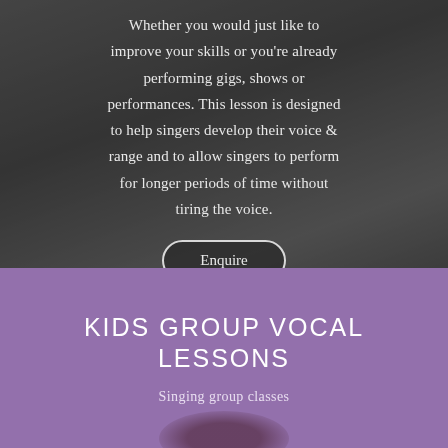[Figure (photo): Black and white photo background showing a person, partially visible, with guitar or musical instrument. Dark grayscale tones.]
Whether you would just like to improve your skills or you're already performing gigs, shows or performances. This lesson is designed to help singers develop their voice & range and to allow singers to perform for longer periods of time without tiring the voice.
Enquire
[Figure (photo): Purple/mauve background section with blurred dark shape at the bottom, representing a kids group vocal lessons section.]
KIDS GROUP VOCAL LESSONS
Singing group classes